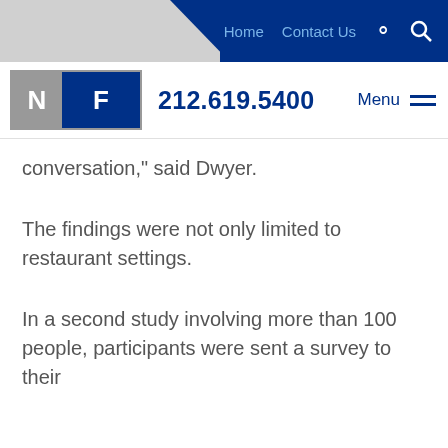Home  Contact Us  [search]
[Figure (logo): NF law firm logo with N in gray box and F in blue box, phone number 212.619.5400, and Menu hamburger icon]
conversation," said Dwyer.
The findings were not only limited to restaurant settings.
In a second study involving more than 100 people, participants were sent a survey to their